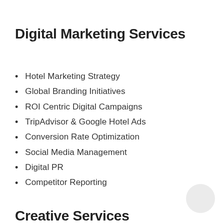Digital Marketing Services
Hotel Marketing Strategy
Global Branding Initiatives
ROI Centric Digital Campaigns
TripAdvisor & Google Hotel Ads
Conversion Rate Optimization
Social Media Management
Digital PR
Competitor Reporting
Creative Services